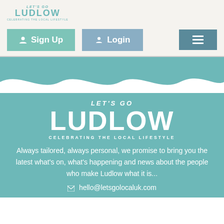[Figure (logo): Let's Go Ludlow logo with teal text]
[Figure (screenshot): Sign Up button (teal), Login button (blue-grey), and hamburger menu button (dark teal)]
[Figure (illustration): Teal hero banner with white wave at the bottom]
LET'S GO LUDLOW
CELEBRATING THE LOCAL LIFESTYLE
Always tailored, always personal, we promise to bring you the latest what's on, what's happening and news about the people who make Ludlow what it is...
hello@letsgolocaluk.com